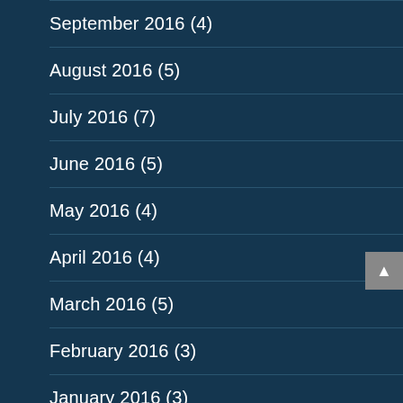September 2016 (4)
August 2016 (5)
July 2016 (7)
June 2016 (5)
May 2016 (4)
April 2016 (4)
March 2016 (5)
February 2016 (3)
January 2016 (3)